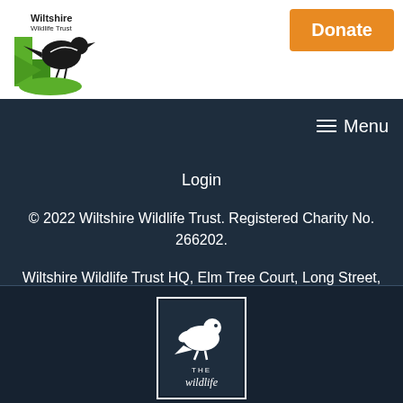[Figure (logo): Wiltshire Wildlife Trust logo with green play button shape and black bird silhouette, text 'Wiltshire Wildlife Trust']
Donate
Menu
Login
© 2022 Wiltshire Wildlife Trust. Registered Charity No. 266202.
Wiltshire Wildlife Trust HQ, Elm Tree Court, Long Street, Devizes, SN10 1NJ
Tel: 01380 725670
[Figure (logo): The Wildlife Trusts logo - white bird/otter silhouette on dark background with 'THE wildlife' text]